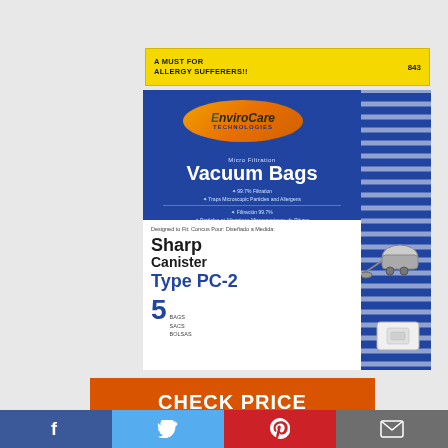A MUST FOR ALLERGY SUFFERERS!! 843
[Figure (photo): EnviroCare Technologies product box for Micro Filtration Vacuum Bags, Sharp Canister Type PC-2, 5 bags. Blue box with orange oval logo, white content area showing brand details.]
CHECK PRICE
[Figure (infographic): Social media share bar with Facebook, Twitter, Pinterest, and email icons]